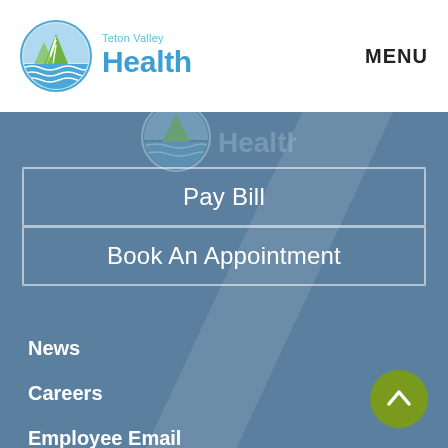[Figure (logo): Teton Valley Health logo: circular badge with mountain and wave design in blue and green, with 'Teton Valley' in small teal text and 'Health' in large blue bold text]
MENU
Pay Bill
Book An Appointment
News
Careers
Employee Email
HIPAA & Policies